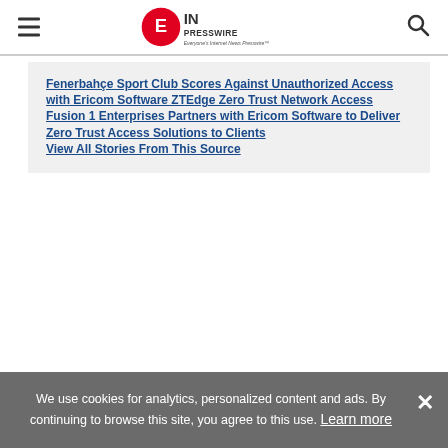EINPresswire — Everyone's Internet News Presswire
Fenerbahçe Sport Club Scores Against Unauthorized Access with Ericom Software ZTEdge Zero Trust Network Access
Fusion 1 Enterprises Partners with Ericom Software to Deliver Zero Trust Access Solutions to Clients
View All Stories From This Source
We use cookies for analytics, personalized content and ads. By continuing to browse this site, you agree to this use. Learn more